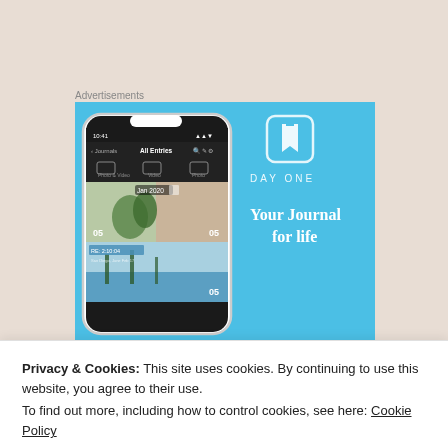Advertisements
[Figure (illustration): DayOne journal app advertisement showing a smartphone mockup with app screenshots on a blue background, with the DayOne logo and tagline 'Your Journal for life']
Privacy & Cookies: This site uses cookies. By continuing to use this website, you agree to their use.
To find out more, including how to control cookies, see here: Cookie Policy
Close and accept